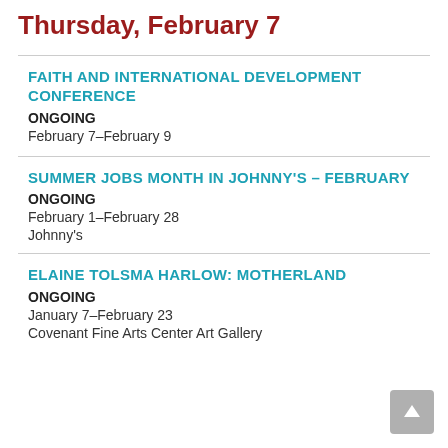Thursday, February 7
FAITH AND INTERNATIONAL DEVELOPMENT CONFERENCE
ONGOING
February 7–February 9
SUMMER JOBS MONTH IN JOHNNY'S – FEBRUARY
ONGOING
February 1–February 28
Johnny's
ELAINE TOLSMA HARLOW: MOTHERLAND
ONGOING
January 7–February 23
Covenant Fine Arts Center Art Gallery